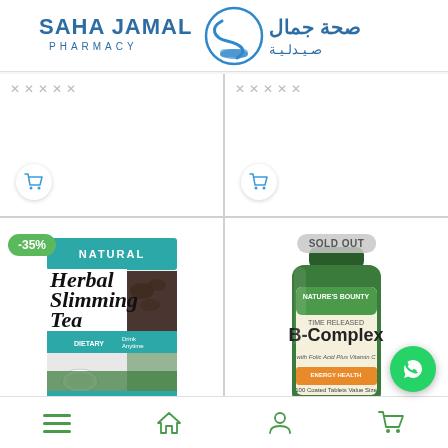[Figure (logo): Saha Jamal Pharmacy logo with Arabic text and mortar/pestle icon in blue]
[Figure (infographic): Top-left product cell: empty white card with star ratings and shopping cart button]
[Figure (infographic): Top-right product cell: empty white card with star ratings and shopping cart button]
[Figure (photo): Bottom-left: Natural Herbal Slimming Tea product box with -35% discount badge]
[Figure (photo): Bottom-right: Nature's Bounty B-Complex supplement bottle with SOLD OUT badge]
[Figure (infographic): Bottom navigation bar with hamburger menu, home, user, and cart icons, plus WhatsApp FAB]